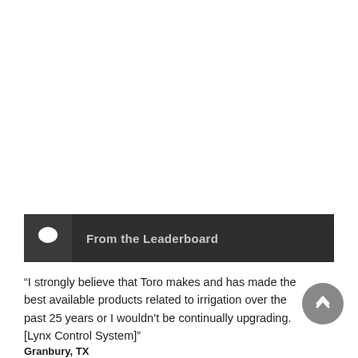From the Leaderboard
“I strongly believe that Toro makes and has made the best available products related to irrigation over the past 25 years or I wouldn’t be continually upgrading. [Lynx Control System]”
Granbury, TX